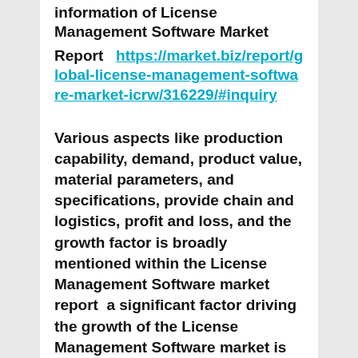information of License Management Software Market
Report  https://market.biz/report/global-license-management-software-market-icrw/316229/#inquiry
Various aspects like production capability, demand, product value, material parameters, and specifications, provide chain and logistics, profit and loss, and the growth factor is broadly mentioned within the License Management Software market report  a significant factor driving the growth of the License Management Software market is increasing the need for License Management Software market in numerous sectors and increasing demands that provide the key